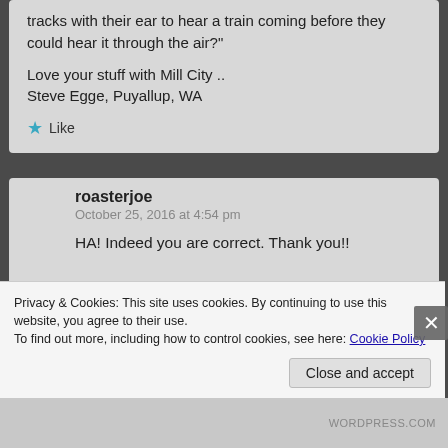tracks with their ear to hear a train coming before they could hear it through the air?"
Love your stuff with Mill City ..
Steve Egge, Puyallup, WA
Like
roasterjoe
October 25, 2016 at 4:54 pm
HA! Indeed you are correct. Thank you!!
You are correct about sound. Sound is energy just as heat is energy!
Privacy & Cookies: This site uses cookies. By continuing to use this website, you agree to their use.
To find out more, including how to control cookies, see here: Cookie Policy
Close and accept